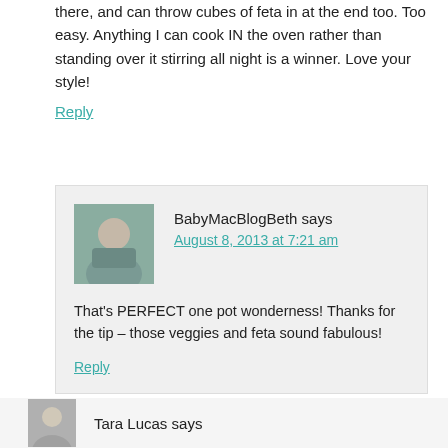there, and can throw cubes of feta in at the end too. Too easy. Anything I can cook IN the oven rather than standing over it stirring all night is a winner. Love your style!
Reply
BabyMacBlogBeth says
August 8, 2013 at 7:21 am
That’s PERFECT one pot wonderness! Thanks for the tip – those veggies and feta sound fabulous!
Reply
Tara Lucas says